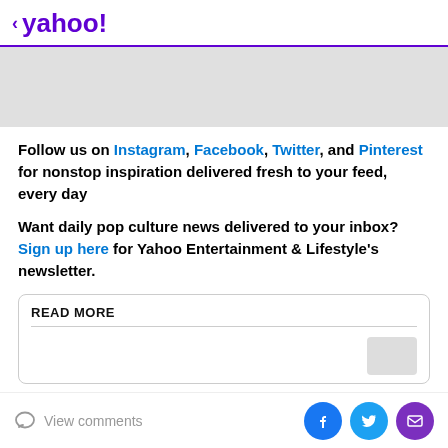< yahoo!
[Figure (other): Gray banner/image placeholder]
Follow us on Instagram, Facebook, Twitter, and Pinterest for nonstop inspiration delivered fresh to your feed, every day
Want daily pop culture news delivered to your inbox? Sign up here for Yahoo Entertainment & Lifestyle's newsletter.
READ MORE
View comments